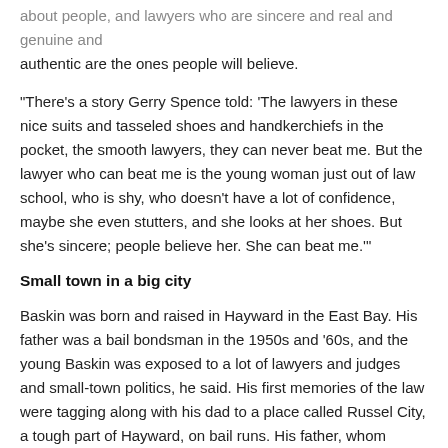about people, and lawyers who are sincere and real and genuine and authentic are the ones people will believe.
"There's a story Gerry Spence told: 'The lawyers in these nice suits and tasseled shoes and handkerchiefs in the pocket, the smooth lawyers, they can never beat me. But the lawyer who can beat me is the young woman just out of law school, who is shy, who doesn't have a lot of confidence, maybe she even stutters, and she looks at her shoes. But she's sincere; people believe her. She can beat me.'"
Small town in a big city
Baskin was born and raised in Hayward in the East Bay. His father was a bail bondsman in the 1950s and '60s, and the young Baskin was exposed to a lot of lawyers and judges and small-town politics, he said. His first memories of the law were tagging along with his dad to a place called Russel City, a tough part of Hayward, on bail runs. His father, whom people called Lenny, was a character: "Big cigar, Cadillac, bit of a belly," Baskin said. One night in Russel City someone put a gun in his father's back.
"At that point he turned them and said, 'Oh, I'm just a small — I didn't...